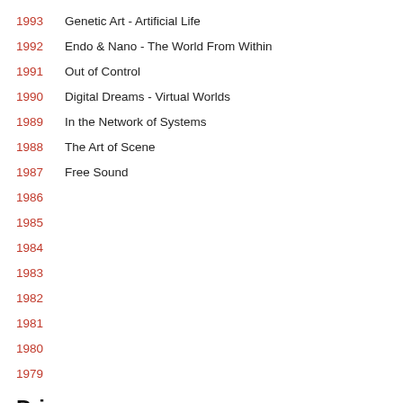1993  Genetic Art - Artificial Life
1992  Endo & Nano - The World From Within
1991  Out of Control
1990  Digital Dreams - Virtual Worlds
1989  In the Network of Systems
1988  The Art of Scene
1987  Free Sound
1986
1985
1984
1983
1982
1981
1980
1979
Prix